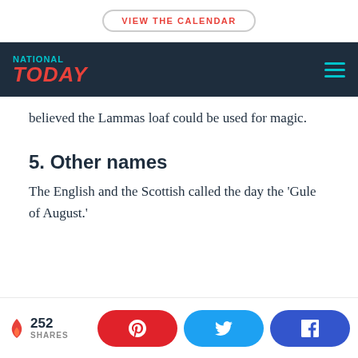VIEW THE CALENDAR
NATIONAL TODAY
believed the Lammas loaf could be used for magic.
5. Other names
The English and the Scottish called the day the 'Gule of August.'
252 SHARES